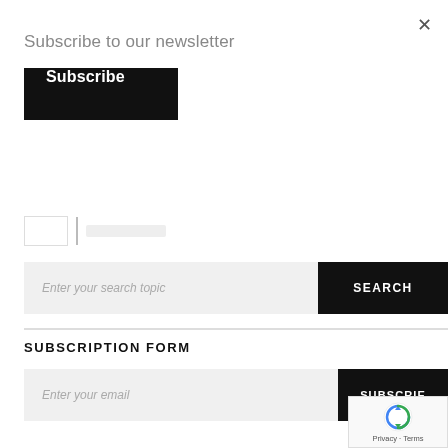Subscribe to our newsletter
Subscribe
Enter your search topic
SEARCH
SUBSCRIPTION FORM
Enter your email
SUBSCRIE
[Figure (other): reCAPTCHA badge with robot icon and Privacy/Terms links]